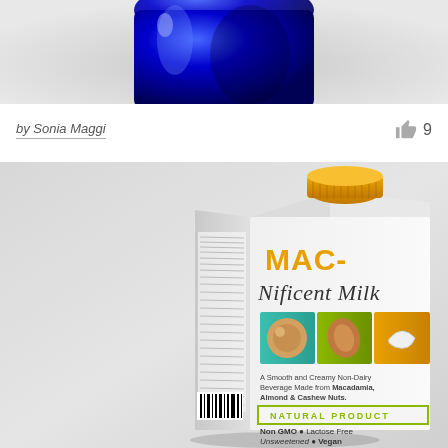[Figure (photo): Top portion of a blue glass bottle on a light background, cropped so only the upper part of the bottle is visible.]
by Sonia Maggi
[Figure (photo): Product packaging photo of MAC-Nificent Milk, a non-dairy beverage carton with gold screw cap, featuring macadamia, almond and cashew nut imagery, labeled as Natural Product, Non GMO, Lactose Free, Unsweetened, Vegan.]